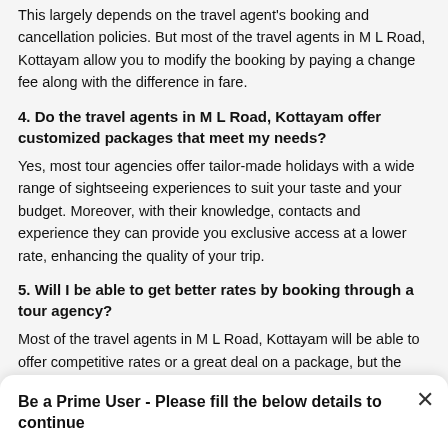This largely depends on the travel agent's booking and cancellation policies. But most of the travel agents in M L Road, Kottayam allow you to modify the booking by paying a change fee along with the difference in fare.
4. Do the travel agents in M L Road, Kottayam offer customized packages that meet my needs?
Yes, most tour agencies offer tailor-made holidays with a wide range of sightseeing experiences to suit your taste and your budget. Moreover, with their knowledge, contacts and experience they can provide you exclusive access at a lower rate, enhancing the quality of your trip.
5. Will I be able to get better rates by booking through a tour agency?
Most of the travel agents in M L Road, Kottayam will be able to offer competitive rates or a great deal on a package, but the rates may vary from agent to agent. Apart from this, they will be able to make recommendations in order to help you plan the trip within your budget.
Be a Prime User - Please fill the below details to continue